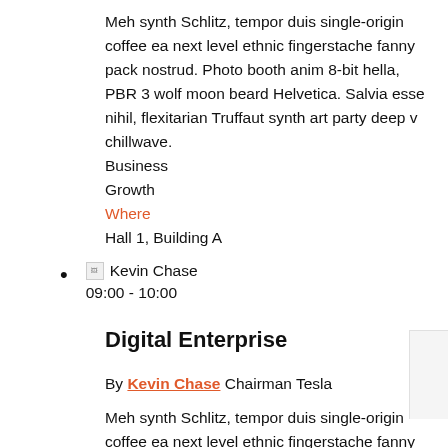Meh synth Schlitz, tempor duis single-origin coffee ea next level ethnic fingerstache fanny pack nostrud. Photo booth anim 8-bit hella, PBR 3 wolf moon beard Helvetica. Salvia esse nihil, flexitarian Truffaut synth art party deep v chillwave.
Business
Growth
Where
Hall 1, Building A
Kevin Chase 09:00 - 10:00
Digital Enterprise
By Kevin Chase Chairman Tesla
Meh synth Schlitz, tempor duis single-origin coffee ea next level ethnic fingerstache fanny pack nostrud. Photo booth anim 8-bit hella, PBR 3 wolf moon beard Helvetica. Salvia esse nihil, flexitarian Truffaut synth art party deep v chillwave.